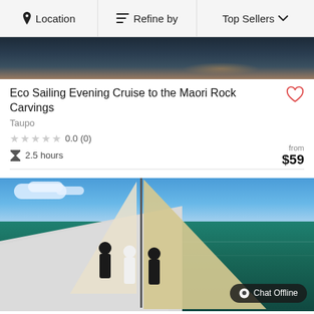Location | Refine by | Top Sellers
[Figure (photo): Dark water surface with sunset reflection]
Eco Sailing Evening Cruise to the Maori Rock Carvings
Taupo
★★★★★ 0.0 (0)
⧖ 2.5 hours    from $59
[Figure (photo): Sailing boat on ocean with people on deck, white sails, blue sky, Chat Offline button overlay]